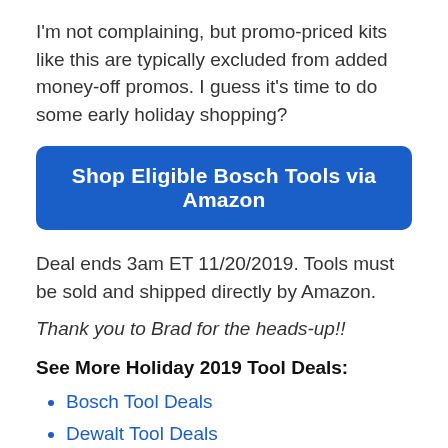I'm not complaining, but promo-priced kits like this are typically excluded from added money-off promos. I guess it's time to do some early holiday shopping?
[Figure (other): Blue rounded rectangle button with white bold text: Shop Eligible Bosch Tools via Amazon]
Deal ends 3am ET 11/20/2019. Tools must be sold and shipped directly by Amazon.
Thank you to Brad for the heads-up!!
See More Holiday 2019 Tool Deals:
Bosch Tool Deals
Dewalt Tool Deals
Makita Tool Deals
Milwaukee Tool Deals
All Tool Deals